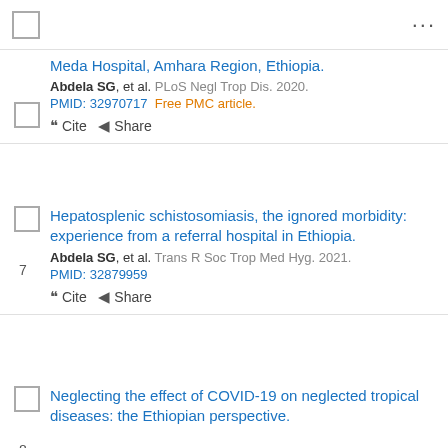...
Meda Hospital, Amhara Region, Ethiopia.
Abdela SG, et al. PLoS Negl Trop Dis. 2020.
PMID: 32970717  Free PMC article.
" Cite  < Share
Hepatosplenic schistosomiasis, the ignored morbidity: experience from a referral hospital in Ethiopia.
Abdela SG, et al. Trans R Soc Trop Med Hyg. 2021.
PMID: 32879959
" Cite  < Share
Neglecting the effect of COVID-19 on neglected tropical diseases: the Ethiopian perspective.